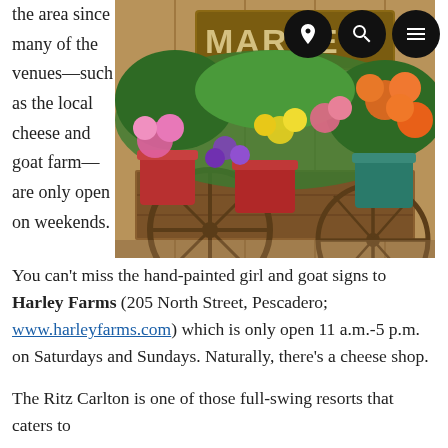the area since many of the venues—such as the local cheese and goat farm—are only open on weekends.
[Figure (photo): A rustic wooden wagon display with colorful potted flowers (pink, orange, yellow, purple) and a wooden 'MARKET' sign in the background at a farm stand.]
You can't miss the hand-painted girl and goat signs to Harley Farms (205 North Street, Pescadero; www.harleyfarms.com) which is only open 11 a.m.-5 p.m. on Saturdays and Sundays. Naturally, there's a cheese shop.
The Ritz Carlton is one of those full-swing resorts that caters to